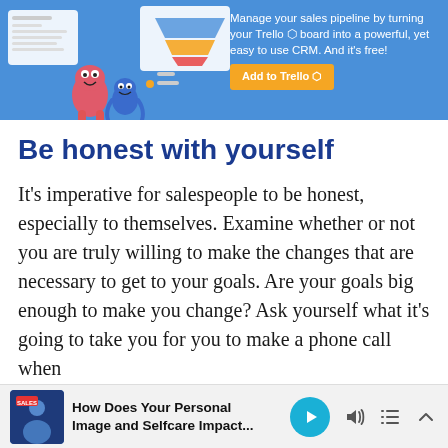[Figure (illustration): Trello CRM promotional banner with cartoon monster characters and dashboard screenshots on a blue background. Text reads 'Manage your sales pipeline by turning your Trello board into a powerful, yet easy to use CRM. And it’s free!' with an orange 'Add to Trello' button.]
Be honest with yourself
It’s imperative for salespeople to be honest, especially to themselves. Examine whether or not you are truly willing to make the changes that are necessary to get to your goals. Are your goals big enough to make you change? Ask yourself what it’s going to take you for you to make a phone call when
[Figure (screenshot): Podcast player bar at the bottom showing a podcast thumbnail with 'SALES' label and a person, title 'How Does Your Personal Image and Selfcare Impact...' with play, volume, list, and collapse controls.]